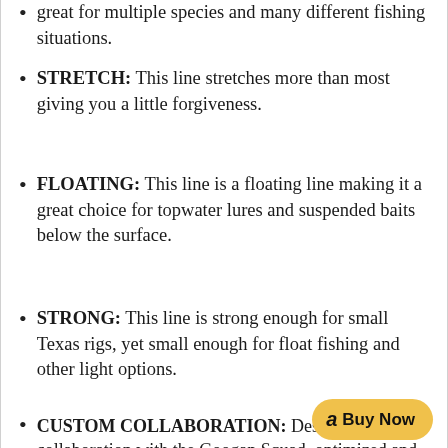great for multiple species and many different fishing situations.
STRETCH: This line stretches more than most giving you a little forgiveness.
FLOATING: This line is a floating line making it a great choice for topwater lures and suspended baits below the surface.
STRONG: This line is strong enough for small Texas rigs, yet small enough for float fishing and other light options.
CUSTOM COLLABORATION: Designed in collaboration with the Googan Squad, optimized and manufactured by Catch Co.